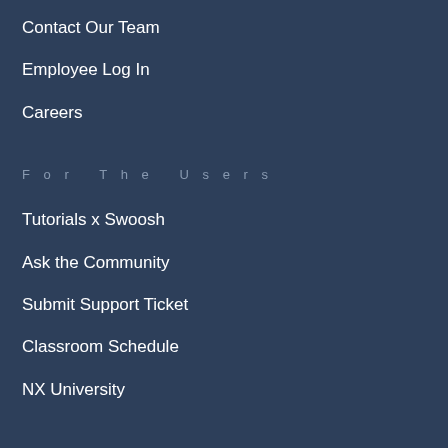Contact Our Team
Employee Log In
Careers
For The Users
Tutorials x Swoosh
Ask the Community
Submit Support Ticket
Classroom Schedule
NX University